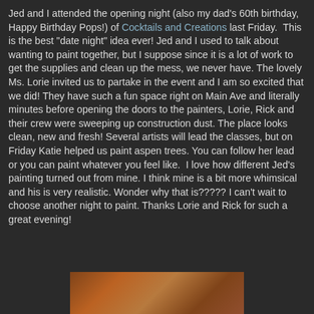Jed and I attended the opening night (also my dad's 60th birthday, Happy Birthday Pops!) of Cocktails and Creations last Friday.  This is the best "date night" idea ever! Jed and I used to talk about wanting to paint together, but I suppose since it is a lot of work to get the supplies and clean up the mess, we never have. The lovely Ms. Lorie invited us to partake in the event and I am so excited that we did! They have such a fun space right on Main Ave and literally minutes before opening the doors to the painters, Lorie, Rick and their crew were sweeping up construction dust. The place looks clean, new and fresh! Several artists will lead the classes, but on Friday Katie helped us paint aspen trees. You can follow her lead or you can paint whatever you feel like.  I love how different Jed's painting turned out from mine. I think mine is a bit more whimsical and his is very realistic. Wonder why that is????? I can't wait to choose another night to paint. Thanks Lorie and Rick for such a great evening!
[Figure (photo): Partial photo of a painting, appears to show aspen trees with warm orange/brown tones]